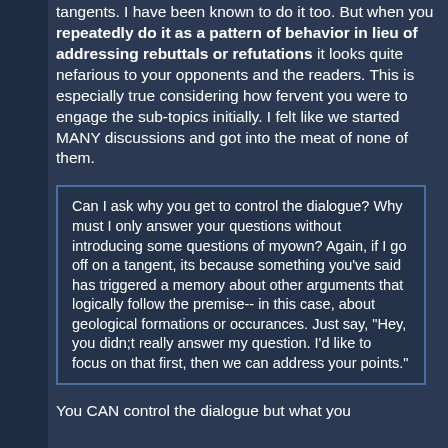tangents. I have been known to do it too. But when you repeatedly do it as a pattern of behavior in lieu of addressing rebuttals or refutations it looks quite nefarious to your opponents and the readers. This is especially true considering how fervent you were to engage the sub-topics initially. I felt like we started MANY discussions and got into the meat of none of them.
Can I ask why you get to control the dialogue? Why must I only answer your questions without introducing some questions of myown? Again, if I go off on a tangent, its because something you've said has triggered a memory about other arguments that logically follow the premise-- in this case, about geological formations or occurances. Just say, "Hey, you didn;t really answer my question. I'd like to focus on that first, then we can address your points."
You CAN control the dialogue but what you